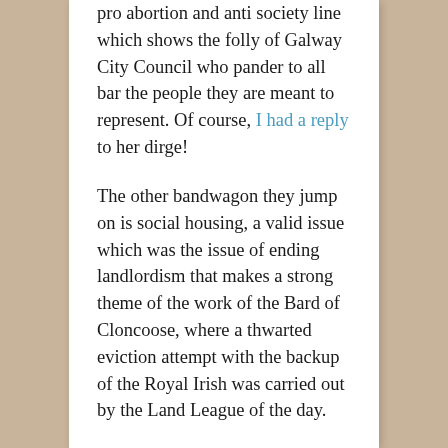pro abortion and anti society line which shows the folly of Galway City Council who pander to all bar the people they are meant to represent. Of course, I had a reply to her dirge!
The other bandwagon they jump on is social housing, a valid issue which was the issue of ending landlordism that makes a strong theme of the work of the Bard of Cloncoose, where a thwarted eviction attempt with the backup of the Royal Irish was carried out by the Land League of the day.
RIP John Squires